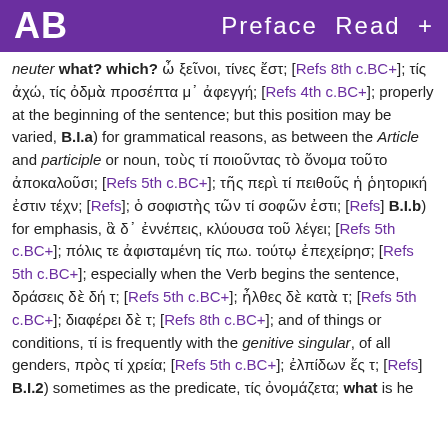AB   Preface  Read  +
neuter what? which? ὦ ξεῖνοι, τίνες ἔστ; [Refs 8th c.BC+]; τίς ἀχώ, τίς ὀδμὰ προσέπτα μ᾽ ἀφεγγή; [Refs 4th c.BC+]; properly at the beginning of the sentence; but this position may be varied, B.I.a) for grammatical reasons, as between the Article and participle or noun, τοὺς τί ποιοῦντας τὸ ὄνομα τοῦτο ἀποκαλοῦσι; [Refs 5th c.BC+]; τῆς περὶ τί πειθοῦς ἡ ῥητορική ἐστιν τέχν; [Refs]; ὁ σοφιστὴς τῶν τί σοφῶν ἐστι; [Refs] B.I.b) for emphasis, ἃ δ᾽ ἐννέπεις, κλύουσα τοῦ λέγει; [Refs 5th c.BC+]; πόλις τε ἀφισταμένη τίς πω. τούτῳ ἐπεχείρησ; [Refs 5th c.BC+]; especially when the Verb begins the sentence, δράσεις δὲ δή τ; [Refs 5th c.BC+]; ἦλθες δὲ κατὰ τ; [Refs 5th c.BC+]; διαφέρει δὲ τ; [Refs 8th c.BC+]; and of things or conditions, τί is frequently with the genitive singular, of all genders, πρὸς τί χρεία; [Refs 5th c.BC+]; ἐλπίδων ἔς τ; [Refs] B.I.2) sometimes as the predicate, τίς ὀνομάζετα; what is he